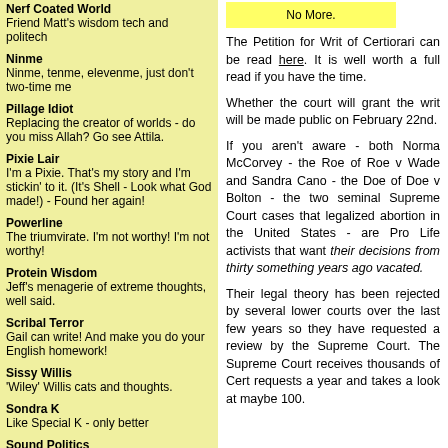Nerf Coated World
Friend Matt's wisdom tech and politech
Ninme
Ninme, tenme, elevenme, just don't two-time me
Pillage Idiot
Replacing the creator of worlds - do you miss Allah? Go see Attila.
Pixie Lair
I'm a Pixie. That's my story and I'm stickin' to it. (It's Shell - Look what God made!) - Found her again!
Powerline
The triumvirate. I'm not worthy! I'm not worthy!
Protein Wisdom
Jeff's menagerie of extreme thoughts, well said.
Scribal Terror
Gail can write! And make you do your English homework!
Sissy Willis
'Wiley' Willis cats and thoughts.
Sondra K
Like Special K - only better
Sound Politics
Shark and friends dig out the unsound
Tapscott's Copy Desk
[Figure (other): Yellow highlighted box partially visible at top right]
The Petition for Writ of Certiorari can be read here. It is well worth a full read if you have the time.
Whether the court will grant the writ will be made public on February 22nd.
If you aren't aware - both Norma McCorvey - the Roe of Roe v Wade and Sandra Cano - the Doe of Doe v Bolton - the two seminal Supreme Court cases that legalized abortion in the United States - are Pro Life activists that want their decisions from thirty something years ago vacated.
Their legal theory has been rejected by several lower courts over the last few years so they have requested a review by the Supreme Court. The Supreme Court receives thousands of Cert requests a year and takes a look at maybe 100.